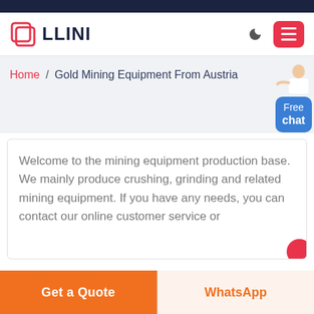[Figure (logo): LLINI logo with red square icon and bold dark text]
Home / Gold Mining Equipment From Austria
[Figure (illustration): Free chat button with person illustration in top right]
Welcome to the mining equipment production base. We mainly produce crushing, grinding and related mining equipment. If you have any needs, you can contact our online customer service or
Get a Quote
WhatsApp